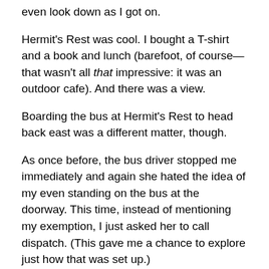even look down as I got on.
Hermit's Rest was cool. I bought a T-shirt and a book and lunch (barefoot, of course—that wasn't all that impressive: it was an outdoor cafe). And there was a view.
Boarding the bus at Hermit's Rest to head back east was a different matter, though.
As once before, the bus driver stopped me immediately and again she hated the idea of my even standing on the bus at the doorway. This time, instead of mentioning my exemption, I just asked her to call dispatch. (This gave me a chance to explore just how that was set up.)
Dispatch asked her my name!
So, they were set up to provide a religious exemption to